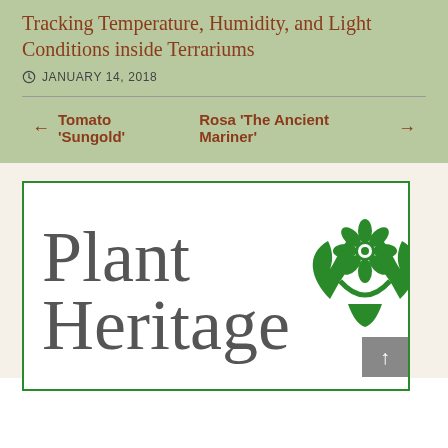Tracking Temperature, Humidity, and Light Conditions inside Terrariums
JANUARY 14, 2018
← Tomato 'Sungold'   Rosa 'The Ancient Mariner' →
[Figure (logo): Plant Heritage logo: large grey serif text reading 'Plant Heritage' with a green icon of two hands cradling a flower, all inside a green border rectangle]